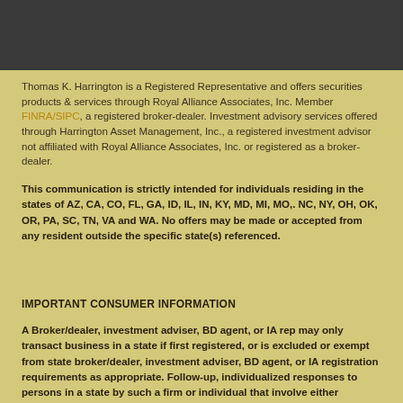[Figure (other): Dark gray/charcoal header banner at the top of the page]
Thomas K. Harrington is a Registered Representative and offers securities products & services through Royal Alliance Associates, Inc. Member FINRA/SIPC, a registered broker-dealer. Investment advisory services offered through Harrington Asset Management, Inc., a registered investment advisor not affiliated with Royal Alliance Associates, Inc. or registered as a broker-dealer.
This communication is strictly intended for individuals residing in the states of AZ, CA, CO, FL, GA, ID, IL, IN, KY, MD, MI, MO,. NC, NY, OH, OK, OR, PA, SC, TN, VA and WA. No offers may be made or accepted from any resident outside the specific state(s) referenced.
IMPORTANT CONSUMER INFORMATION
A Broker/dealer, investment adviser, BD agent, or IA rep may only transact business in a state if first registered, or is excluded or exempt from state broker/dealer, investment adviser, BD agent, or IA registration requirements as appropriate. Follow-up, individualized responses to persons in a state by such a firm or individual that involve either effecting or attempting to effect transactions